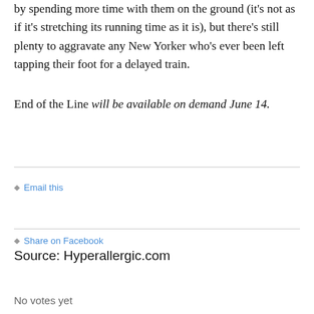by spending more time with them on the ground (it's not as if it's stretching its running time as it is), but there's still plenty to aggravate any New Yorker who's ever been left tapping their foot for a delayed train.
End of the Line will be available on demand June 14.
◆ Email this
◆ Share on Facebook
Source: Hyperallergic.com
No votes yet